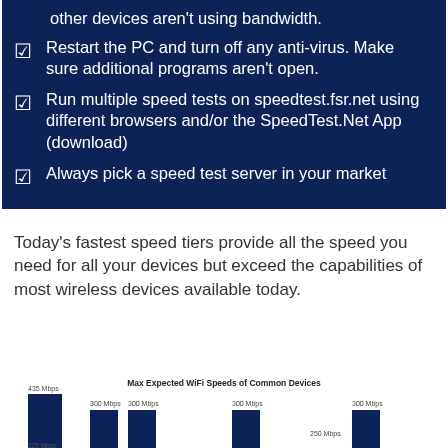other devices aren't using bandwidth.
Restart the PC and turn off any anti-virus. Make sure additional programs aren't open.
Run multiple speed tests on speedtest.fsr.net using different browsers and/or the SpeedTest.Net App (download)
Always pick a speed test server in your market
Today's fastest speed tiers provide all the speed you need for all your devices but exceed the capabilities of most wireless devices available today.
[Figure (bar-chart): Partial bar chart visible at bottom showing Max Expected WiFi Speeds of Common Devices with bars labeled 435 Mbps, 300 Mbps, 300 Mbps, 300 Mbps, 250 Mbps, 300 Mbps and partial bars at bottom]